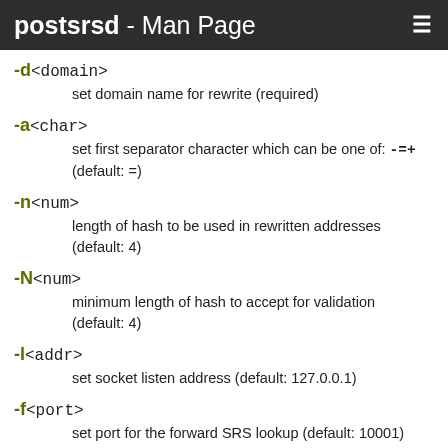postsrsd - Man Page
-d<domain> — set domain name for rewrite (required)
-a<char> — set first separator character which can be one of: -=+ (default: =)
-n<num> — length of hash to be used in rewritten addresses (default: 4)
-N<num> — minimum length of hash to accept for validation (default: 4)
-l<addr> — set socket listen address (default: 127.0.0.1)
-f<port> — set port for the forward SRS lookup (default: 10001)
-r<port>